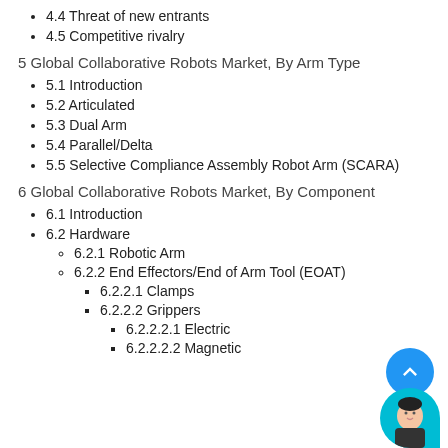4.4 Threat of new entrants
4.5 Competitive rivalry
5 Global Collaborative Robots Market, By Arm Type
5.1 Introduction
5.2 Articulated
5.3 Dual Arm
5.4 Parallel/Delta
5.5 Selective Compliance Assembly Robot Arm (SCARA)
6 Global Collaborative Robots Market, By Component
6.1 Introduction
6.2 Hardware
6.2.1 Robotic Arm
6.2.2 End Effectors/End of Arm Tool (EOAT)
6.2.2.1 Clamps
6.2.2.2 Grippers
6.2.2.2.1 Electric
6.2.2.2.2 Magnetic